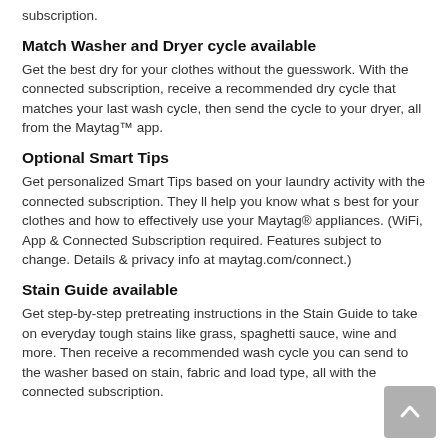subscription.
Match Washer and Dryer cycle available
Get the best dry for your clothes without the guesswork. With the connected subscription, receive a recommended dry cycle that matches your last wash cycle, then send the cycle to your dryer, all from the Maytag™ app.
Optional Smart Tips
Get personalized Smart Tips based on your laundry activity with the connected subscription. They ll help you know what s best for your clothes and how to effectively use your Maytag® appliances. (WiFi, App & Connected Subscription required. Features subject to change. Details & privacy info at maytag.com/connect.)
Stain Guide available
Get step-by-step pretreating instructions in the Stain Guide to take on everyday tough stains like grass, spaghetti sauce, wine and more. Then receive a recommended wash cycle you can send to the washer based on stain, fabric and load type, all with the connected subscription.